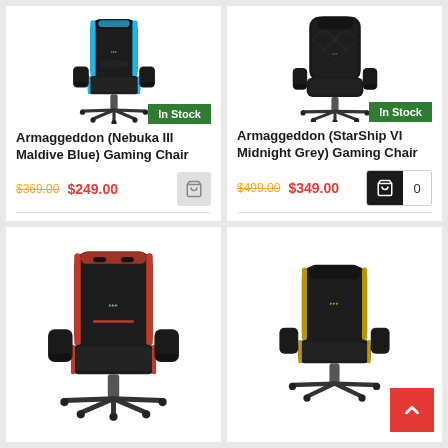[Figure (photo): Gaming chair Armaggeddon Nebuka III Maldive Blue - black chair with blue accents, front view]
In Stock
Armaggeddon (Nebuka III Maldive Blue) Gaming Chair
$369.00 $249.00
[Figure (photo): Gaming chair Armaggeddon StarShip VI Midnight Grey - all black gaming chair, front view]
In Stock
Armaggeddon (StarShip VI Midnight Grey) Gaming Chair
$499.00 $349.00
[Figure (photo): Gaming chair with red accents on black, front view, Armaggeddon brand]
[Figure (photo): Gaming chair with gold/yellow accents on black, front view, Armaggeddon brand]